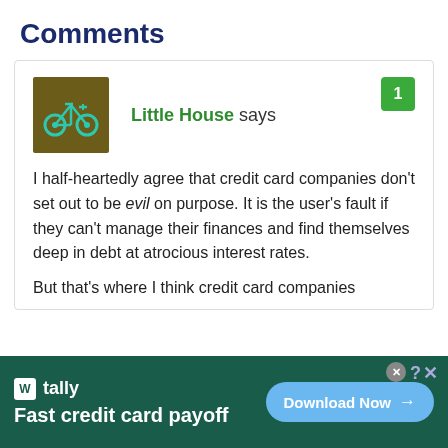Comments
Little House says
I half-heartedly agree that credit card companies don't set out to be evil on purpose. It is the user's fault if they can't manage their finances and find themselves deep in debt at atrocious interest rates.

But that's where I think credit card companies
[Figure (logo): Tally app advertisement banner - Fast credit card payoff with Download Now button]